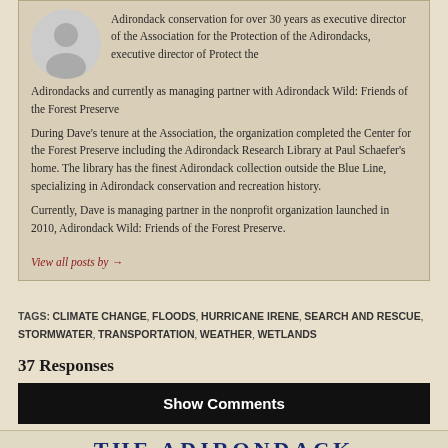Adirondack conservation for over 30 years as executive director of the Association for the Protection of the Adirondacks, executive director of Protect the Adirondacks and currently as managing partner with Adirondack Wild: Friends of the Forest Preserve
During Dave's tenure at the Association, the organization completed the Center for the Forest Preserve including the Adirondack Research Library at Paul Schaefer's home. The library has the finest Adirondack collection outside the Blue Line, specializing in Adirondack conservation and recreation history.
Currently, Dave is managing partner in the nonprofit organization launched in 2010, Adirondack Wild: Friends of the Forest Preserve.
View all posts by →
TAGS: CLIMATE CHANGE, FLOODS, HURRICANE IRENE, SEARCH AND RESCUE, STORMWATER, TRANSPORTATION, WEATHER, WETLANDS
37 Responses
Show Comments
THE ADIRONDACK